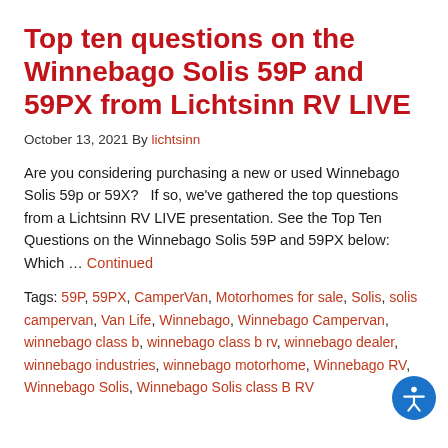Top ten questions on the Winnebago Solis 59P and 59PX from Lichtsinn RV LIVE
October 13, 2021 By lichtsinn
Are you considering purchasing a new or used Winnebago Solis 59p or 59X?   If so, we've gathered the top questions from a Lichtsinn RV LIVE presentation. See the Top Ten Questions on the Winnebago Solis 59P and 59PX below: Which … Continued
Tags: 59P, 59PX, CamperVan, Motorhomes for sale, Solis, solis campervan, Van Life, Winnebago, Winnebago Campervan, winnebago class b, winnebago class b rv, winnebago dealer, winnebago industries, winnebago motorhome, Winnebago RV, Winnebago Solis, Winnebago Solis class B RV